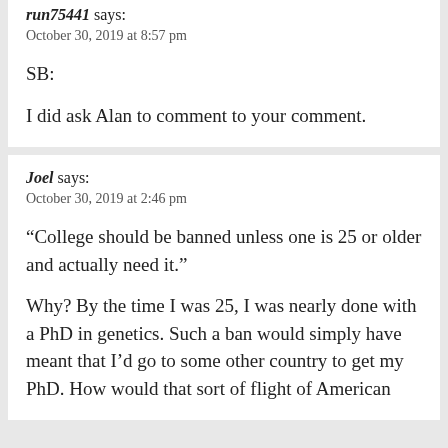run75441 says:
October 30, 2019 at 8:57 pm
SB:

I did ask Alan to comment to your comment.
Joel says:
October 30, 2019 at 2:46 pm
“College should be banned unless one is 25 or older and actually need it.”

Why? By the time I was 25, I was nearly done with a PhD in genetics. Such a ban would simply have meant that I’d go to some other country to get my PhD. How would that sort of flight of American